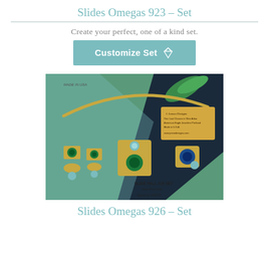Slides Omegas 923 – Set
Create your perfect, one of a kind set.
Customize Set
[Figure (photo): Jewelry set photo showing earrings, pendant slide, and ring in jade/emerald style on a green and dark blue background with gold omega necklace. Text on photo reads 'MADE IN USA', 'SLIDE FALL #16 SET Jade/Emerald', 'Signed by ARTIST']
Slides Omegas 926 – Set